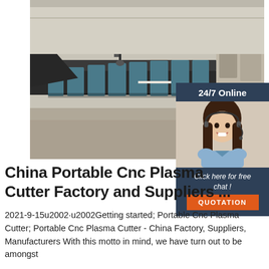[Figure (photo): Industrial CNC plasma cutting machine in a factory setting, showing a long metal beam with blue-painted components, overhead lifting equipment, and a factory floor in the background.]
[Figure (photo): Customer service representative woman wearing a headset, smiling, inside a dark navy chat widget overlay with '24/7 Online' heading, 'Click here for free chat!' text, and an orange QUOTATION button.]
China Portable Cnc Plasma Cutter Factory and Suppliers ...
2021-9-15u2002·u2002Getting started; Portable Cnc Plasma Cutter; Portable Cnc Plasma Cutter - China Factory, Suppliers, Manufacturers With this motto in mind, we have turn out to be amongst